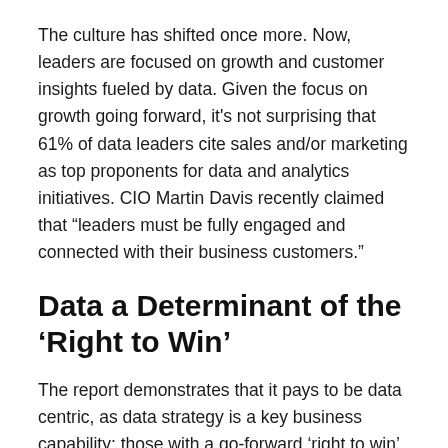The culture has shifted once more. Now, leaders are focused on growth and customer insights fueled by data. Given the focus on growth going forward, it's not surprising that 61% of data leaders cite sales and/or marketing as top proponents for data and analytics initiatives. CIO Martin Davis recently claimed that “leaders must be fully engaged and connected with their business customers.”
Data a Determinant of the ‘Right to Win’
The report demonstrates that it pays to be data centric, as data strategy is a key business capability; those with a go-forward ‘right to win’ are much more likely to make data central t[...] x 3 capabilit[...] have a